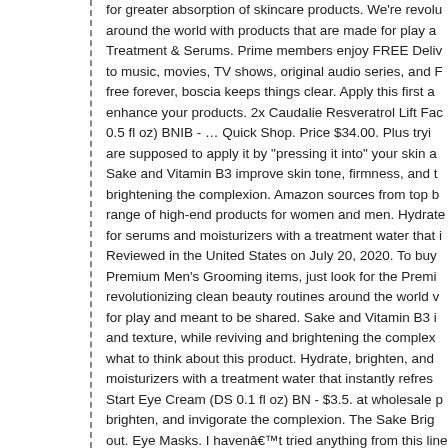for greater absorption of skincare products. We're revolu around the world with products that are made for play a Treatment & Serums. Prime members enjoy FREE Deliv to music, movies, TV shows, original audio series, and free forever, boscia keeps things clear. Apply this first a enhance your products. 2x Caudalie Resveratrol Lift Fac 0.5 fl oz) BNIB - … Quick Shop. Price $34.00. Plus tryi are supposed to apply it by "pressing it into" your skin a Sake and Vitamin B3 improve skin tone, firmness, and t brightening the complexion. Amazon sources from top b range of high-end products for women and men. Hydrate for serums and moisturizers with a treatment water that i Reviewed in the United States on July 20, 2020. To buy Premium Men's Grooming items, just look for the Premi revolutionizing clean beauty routines around the world v for play and meant to be shared. Sake and Vitamin B3 i and texture, while reviving and brightening the comple what to think about this product. Hydrate, brighten, and moisturizers with a treatment water that instantly refres Start Eye Cream (DS 0.1 fl oz) BN - $3.5. at wholesale brighten, and invigorate the complexion. The Sake Brig out. Eye Masks. I havenât tried anything from this lin Tsubaki Splash Mask. Boscia accepts no responsibility f of any products unless sold by an authorized retailer. Th when I stopped using it. It's a product that you can actu immediately and once it's all soaked in it dries very fast. this menu right now. Boscia's Sake Treatment Water